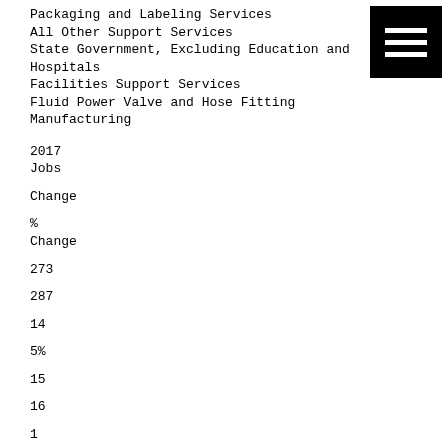Packaging and Labeling Services
All Other Support Services
State Government, Excluding Education and Hospitals
Facilities Support Services
Fluid Power Valve and Hose Fitting Manufacturing
2017
Jobs
Change
%
Change
273
287
14
5%
15
16
1
7%